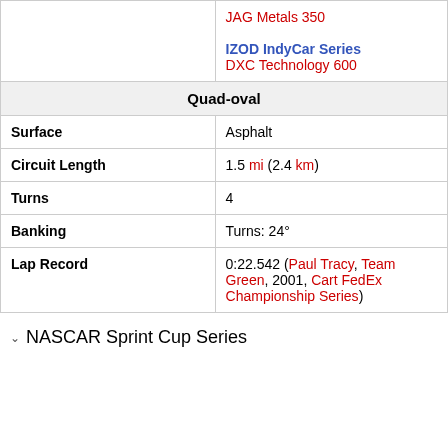|  | JAG Metals 350

IZOD IndyCar Series
DXC Technology 600 |
| Quad-oval |  |
| Surface | Asphalt |
| Circuit Length | 1.5 mi (2.4 km) |
| Turns | 4 |
| Banking | Turns: 24° |
| Lap Record | 0:22.542 (Paul Tracy, Team Green, 2001, Cart FedEx Championship Series) |
NASCAR Sprint Cup Series